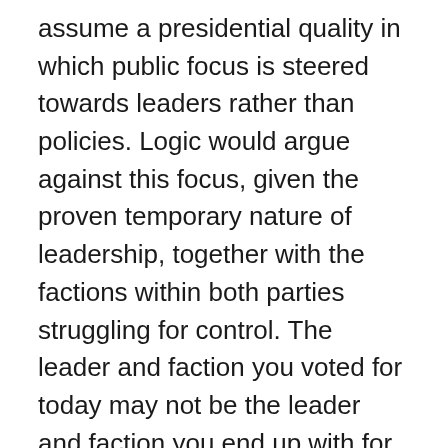assume a presidential quality in which public focus is steered towards leaders rather than policies. Logic would argue against this focus, given the proven temporary nature of leadership, together with the factions within both parties struggling for control. The leader and faction you voted for today may not be the leader and faction you end up with for three years, because unlike in a presidential system, the parties have been at liberty to oust a leader at any time.
Since the Rudd/Gillard/Rudd debacle, the ALP has put in place certain measures that make it more difficult for their leaders to be chucked out, and it's astonishing to me that they aren't making more of this thrust for stability in their election campaign. If you aren't united how can you govern a nation, asked Mr Shorten before Abbott's demise, a question all of us ought to ask before we vote.